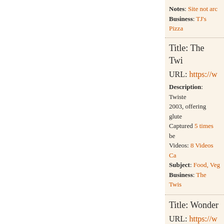Notes: Site not arc... Business: TJ's Pizza
Title: The Twi...
URL: https://w...
Description: Twiste... 2003, offering glute... Captured 5 times be... Videos: 8 Videos Ca... Subject: Food, Veg... Business: The Twis...
Title: Wonder...
URL: https://w...
Description: The W... and the world famo... Captured 8 times be... Subject: Drinks, A... Business: Wonder...